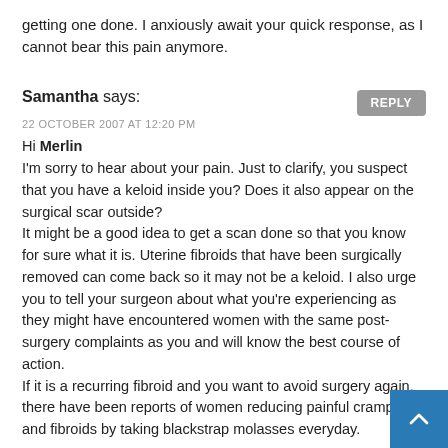getting one done. I anxiously await your quick response, as I cannot bear this pain anymore.
Samantha says:
22 OCTOBER 2007 AT 12:20 PM
Hi Merlin
I'm sorry to hear about your pain. Just to clarify, you suspect that you have a keloid inside you? Does it also appear on the surgical scar outside?
It might be a good idea to get a scan done so that you know for sure what it is. Uterine fibroids that have been surgically removed can come back so it may not be a keloid. I also urge you to tell your surgeon about what you're experiencing as they might have encountered women with the same post-surgery complaints as you and will know the best course of action.
If it is a recurring fibroid and you want to avoid surgery again, there have been reports of women reducing painful cramps and fibroids by taking blackstrap molasses everyday.